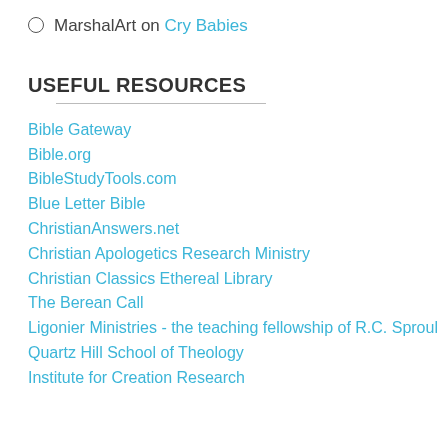MarshalArt on Cry Babies
USEFUL RESOURCES
Bible Gateway
Bible.org
BibleStudyTools.com
Blue Letter Bible
ChristianAnswers.net
Christian Apologetics Research Ministry
Christian Classics Ethereal Library
The Berean Call
Ligonier Ministries - the teaching fellowship of R.C. Sproul
Quartz Hill School of Theology
Institute for Creation Research